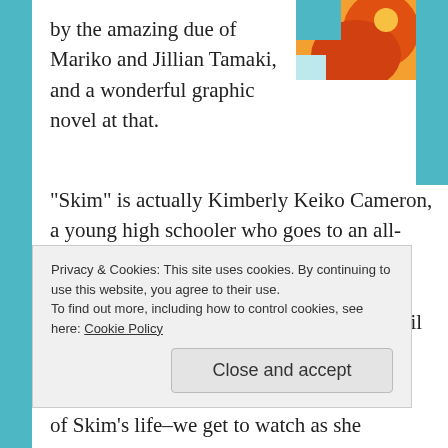by the amazing due of Mariko and Jillian Tamaki, and a wonderful graphic novel at that.
[Figure (illustration): Book cover image with orange, teal and red colors showing a graphic novel cover]
“Skim” is actually Kimberly Keiko Cameron, a young high schooler who goes to an all-girls school in Canada and is a lover of Wicca, tarot cards, and astrology. Skim’s school is all of a sudden thrown into turmoil as news spreads of the suicide of Katie Matthews’s ex-boyfriend, leading to the creation of a “Girls Celebrate Life” club, as Skim herself is falling into a deep
Privacy & Cookies: This site uses cookies. By continuing to use this website, you agree to their use.
To find out more, including how to control cookies, see here: Cookie Policy
Close and accept
of Skim’s life–we get to watch as she grows and